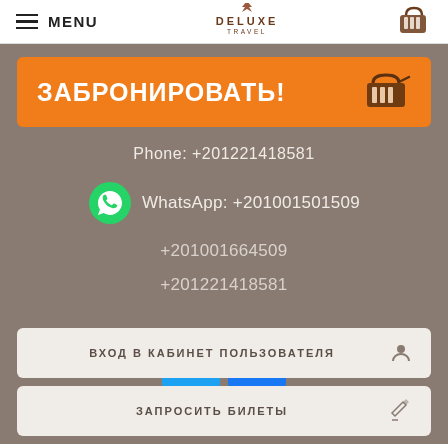MENU | DELUXE TRAVEL
ЗАБРОНИРОВАТЬ!
Phone: +201221418581
WhatsApp: +201001501509
+201001664509
+201221418581
[Figure (logo): Twitter and Facebook social media icon buttons]
ВХОД В КАБИНЕТ ПОЛЬЗОВАТЕЛЯ
ЗАПРОСИТЬ БИЛЕТЫ